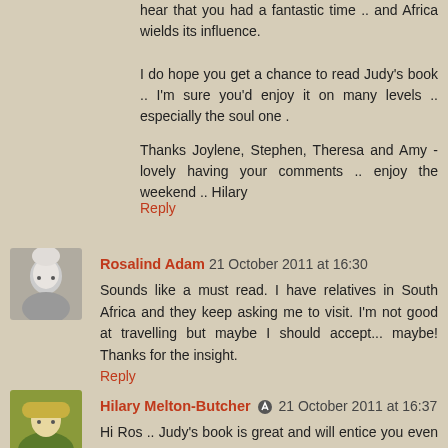hear that you had a fantastic time .. and Africa wields its influence.
I do hope you get a chance to read Judy's book .. I'm sure you'd enjoy it on many levels .. especially the soul one .
Thanks Joylene, Stephen, Theresa and Amy - lovely having your comments .. enjoy the weekend .. Hilary
Reply
Rosalind Adam 21 October 2011 at 16:30
Sounds like a must read. I have relatives in South Africa and they keep asking me to visit. I'm not good at travelling but maybe I should accept... maybe! Thanks for the insight.
Reply
Hilary Melton-Butcher 21 October 2011 at 16:37
Hi Ros .. Judy's book is great and will entice you even more .. I spotted your comment over on her blog .. brave